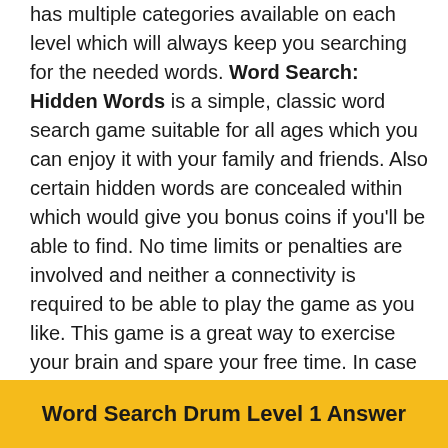has multiple categories available on each level which will always keep you searching for the needed words. Word Search: Hidden Words is a simple, classic word search game suitable for all ages which you can enjoy it with your family and friends. Also certain hidden words are concealed within which would give you bonus coins if you'll be able to find. No time limits or penalties are involved and neither a connectivity is required to be able to play the game as you like. This game is a great way to exercise your brain and spare your free time. In case you can't solve all the levels here you'll find all the Word Search Drum Answers:
Word Search Drum Level 1 Answer